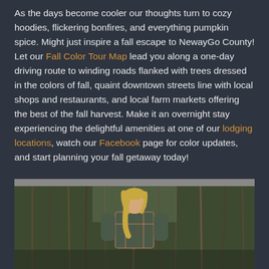As the days become cooler our thoughts turn to cozy hoodies, flickering bonfires, and everything pumpkin spice. Might just inspire a fall escape to NewayGo County! Let our Fall Color Tour Map lead you along a one-day driving route to winding roads flanked with trees dressed in the colors of fall, quaint downtown streets line with local shops and restaurants, and local farm markets offering the best of the fall harvest. Make it an overnight stay experiencing the delightful amenities at one of our lodging locations, watch our Facebook page for color updates, and start planning your fall getaway today!
[Figure (photo): Person with blonde hair in ponytail viewed from behind, standing outdoors in a fall forest with bare and colored trees, wearing a plaid shirt]